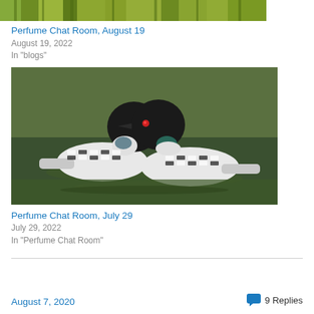[Figure (photo): Top portion of a photo partially visible, showing green foliage background]
Perfume Chat Room, August 19
August 19, 2022
In "blogs"
[Figure (photo): Two loons facing each other on green water, black and white plumage with checkered pattern]
Perfume Chat Room, July 29
July 29, 2022
In "Perfume Chat Room"
August 7, 2020
9 Replies